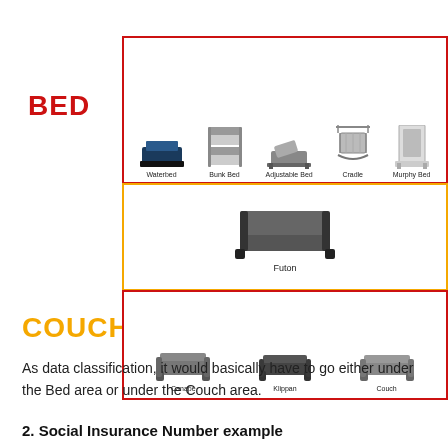[Figure (infographic): Diagram showing furniture classification: BED category (red label) with Waterbed, Bunk Bed, Adjustable Bed, Cradle, Murphy Bed; Futon in middle yellow box; COUCH category (yellow label) with Canape, Klippan, Couch]
As data classification, it would basically have to go either under the Bed area or under the Couch area.
2. Social Insurance Number example